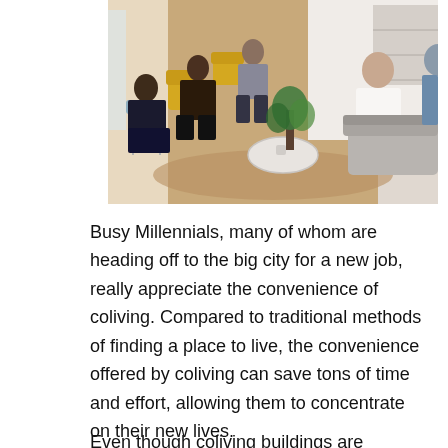[Figure (photo): A group of people sitting in a modern co-living or co-working lounge space. Several people are seated in yellow and light blue chairs around a round coffee table, with plants and warm wood floors visible. A person in a white shirt sits on a grey sofa on the right side.]
Busy Millennials, many of whom are heading off to the big city for a new job, really appreciate the convenience of coliving. Compared to traditional methods of finding a place to live, the convenience offered by coliving can save tons of time and effort, allowing them to concentrate on their new lives.
Even though coliving buildings are designed